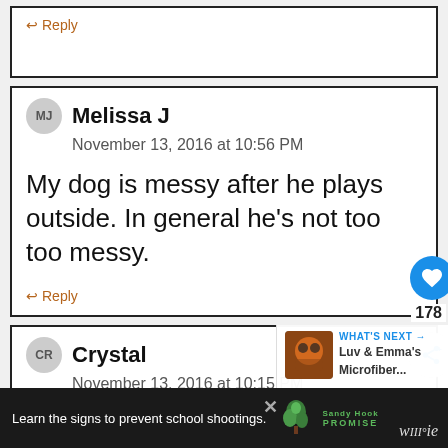↩ Reply
MJ Melissa J
November 13, 2016 at 10:56 PM
My dog is messy after he plays outside. In general he's not too too messy.
↩ Reply
CR Crystal
November 13, 2016 at 10:15 PM
Learn the signs to prevent school shootings.